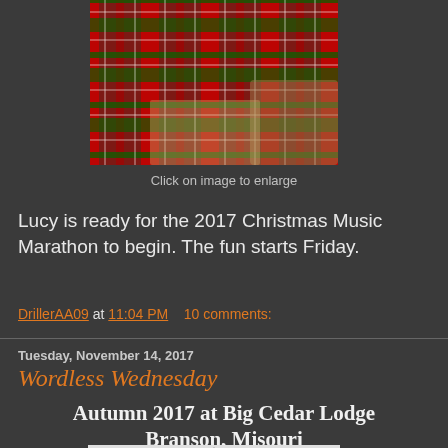[Figure (photo): Photo of a dog with red and green plaid Christmas bows/decorations]
Click on image to enlarge
Lucy is ready for the 2017 Christmas Music Marathon to begin. The fun starts Friday.
DrillerAA09 at 11:04 PM   10 comments:
Tuesday, November 14, 2017
Wordless Wednesday
Autumn 2017 at Big Cedar Lodge Branson, Misouri
[Figure (photo): Photo of a church steeple or tower against a white/grey sky]